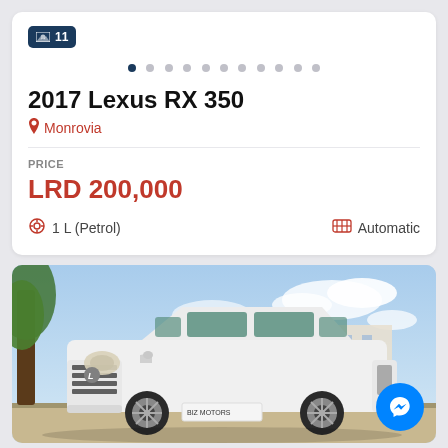[Figure (screenshot): Image count badge showing 11 photos, with navigation dots below]
2017 Lexus RX 350
Monrovia
PRICE
LRD 200,000
1 L (Petrol)
Automatic
[Figure (photo): White Lexus SUV parked outdoors with blue sky and trees in background, dealer plate visible]